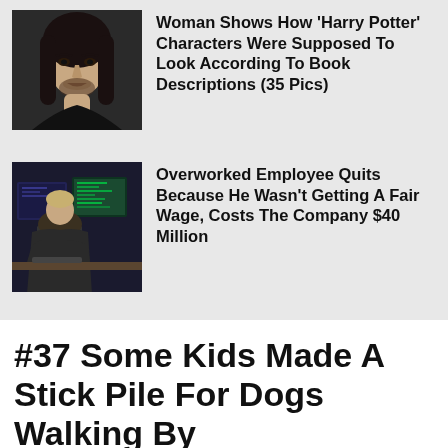[Figure (photo): Thumbnail of a man with long dark hair and intense dark eyes, dramatic portrait style.]
Woman Shows How 'Harry Potter' Characters Were Supposed To Look According To Book Descriptions (35 Pics)
[Figure (photo): Thumbnail of an overworked employee sitting at a desk with multiple computer monitors in a dark office.]
Overworked Employee Quits Because He Wasn't Getting A Fair Wage, Costs The Company $40 Million
#37 Some Kids Made A Stick Pile For Dogs Walking By
Amy Brittain @AmyJBrittain